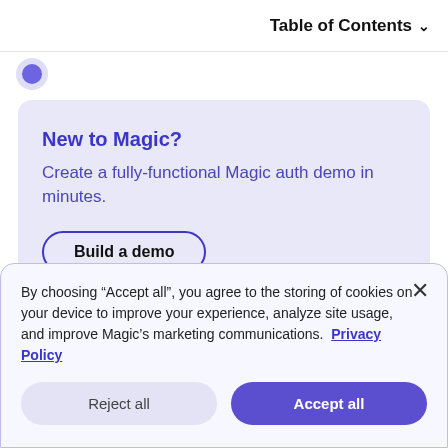Table of Contents
[Figure (logo): Partial circular logo at top left]
New to Magic?
Create a fully-functional Magic auth demo in minutes.
Build a demo
By choosing “Accept all”, you agree to the storing of cookies on your device to improve your experience, analyze site usage, and improve Magic’s marketing communications. Privacy Policy
Reject all
Accept all